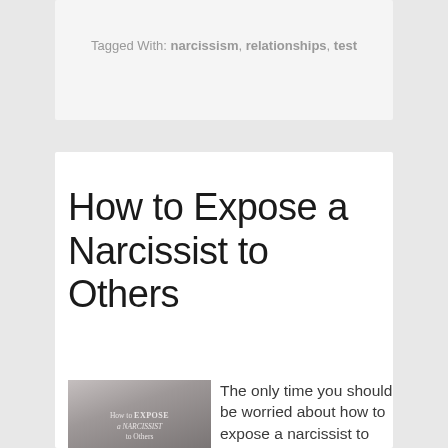Tagged With: narcissism, relationships, test
How to Expose a Narcissist to Others
[Figure (illustration): Book cover image showing 'How to EXPOSE a NARCISSIST to Others' text on a grey background]
The only time you should be worried about how to expose a narcissist to